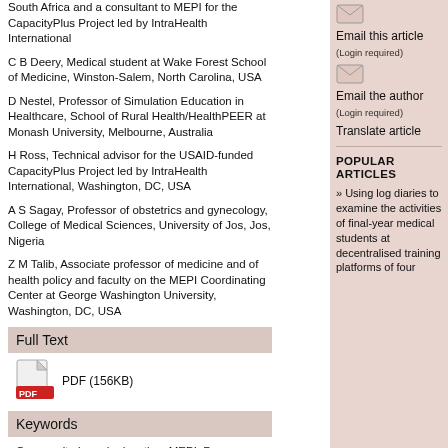South Africa and a consultant to MEPI for the CapacityPlus Project led by IntraHealth International
C B Deery, Medical student at Wake Forest School of Medicine, Winston-Salem, North Carolina, USA
D Nestel, Professor of Simulation Education in Healthcare, School of Rural Health/HealthPEER at Monash University, Melbourne, Australia
H Ross, Technical advisor for the USAID-funded CapacityPlus Project led by IntraHealth International, Washington, DC, USA
A S Sagay, Professor of obstetrics and gynecology, College of Medical Sciences, University of Jos, Jos, Nigeria
Z M Talib, Associate professor of medicine and of health policy and faculty on the MEPI Coordinating Center at George Washington University, Washington, DC, USA
Full Text
[Figure (other): PDF icon with text PDF (156KB)]
Keywords
Community-based education; MEPI; Program evaluation; Evaluation tools; Medical education; Undergraduate; Africa
Email this article (Login required)
Email the author (Login required)
Translate article
POPULAR ARTICLES
» Using log diaries to examine the activities of final-year medical students at decentralised training platforms of four